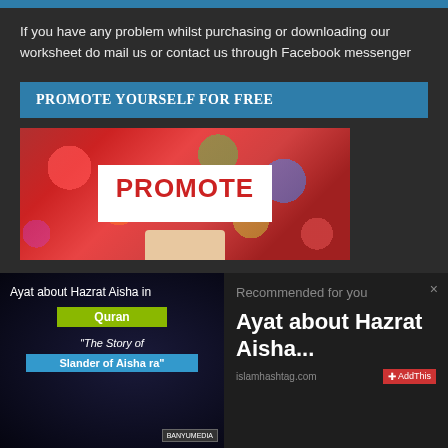If you have any problem whilst purchasing or downloading our worksheet do mail us or contact us through Facebook messenger
PROMOTE YOURSELF FOR FREE
[Figure (photo): A hand holding a white sign with 'PROMOTE' written in red text, against a colorful bokeh background]
[Figure (screenshot): Left overlay: 'Ayat about Hazrat Aisha in Quran' with 'The Story of Slander of Aisha ra' label. Right overlay: 'Recommended for you' panel showing 'Ayat about Hazrat Aisha...' from islamhashtag.com with AddThis button]